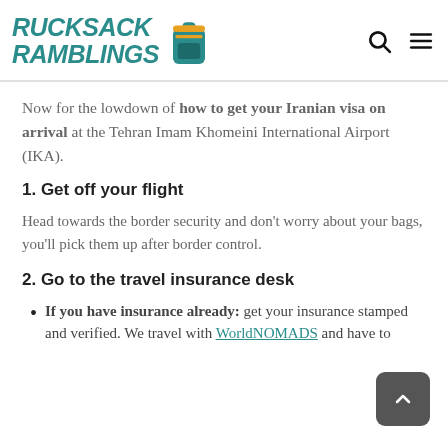Rucksack Ramblings
Now for the lowdown of how to get your Iranian visa on arrival at the Tehran Imam Khomeini International Airport (IKA).
1. Get off your flight
Head towards the border security and don't worry about your bags, you'll pick them up after border control.
2. Go to the travel insurance desk
If you have insurance already: get your insurance stamped and verified. We travel with WorldNOMADS and have to...